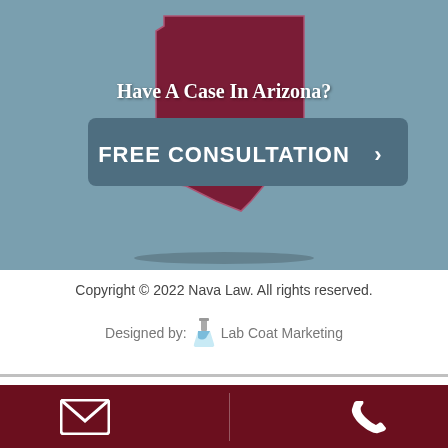[Figure (illustration): Hero section with teal/blue-grey background featuring an outline map of Arizona state in dark maroon/burgundy color, with text 'Have A Case In Arizona?' and a 'FREE CONSULTATION >' button overlay]
Copyright © 2022 Nava Law. All rights reserved.
Designed by: 🧪 Lab Coat Marketing
[Figure (infographic): Dark maroon footer bar with email envelope icon on the left, a vertical divider line, and phone handset icon on the right]